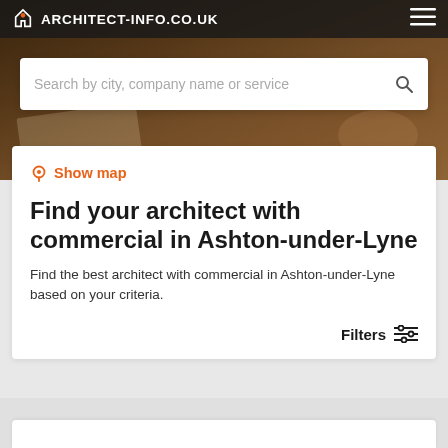ARCHITECT-INFO.CO.UK
[Figure (photo): Background hero photo of architect's hands working on blueprints/drawings on a desk]
Search by city, company name or service
Show map
Find your architect with commercial in Ashton-under-Lyne
Find the best architect with commercial in Ashton-under-Lyne based on your criteria.
Filters